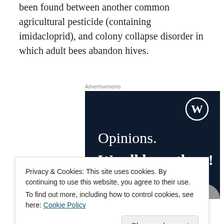been found between another common agricultural pesticide (containing imidacloprid), and colony collapse disorder in which adult bees abandon hives.
[Figure (screenshot): Advertisement banner with dark navy background showing WordPress logo in top right corner, text 'Opinions. We all have them!' in white serif and bold fonts, with a pink button partially visible at the bottom.]
Privacy & Cookies: This site uses cookies. By continuing to use this website, you agree to their use.
To find out more, including how to control cookies, see here: Cookie Policy
wanted to "sound a rallying call", that in Africa there are